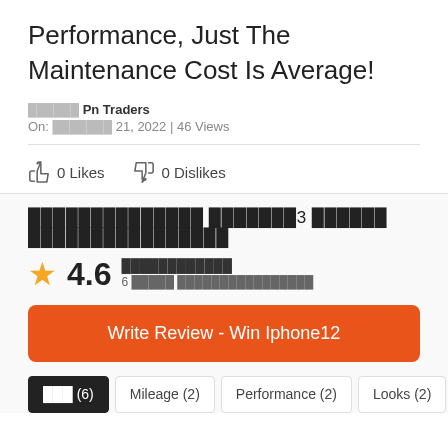Performance, Just The Maintenance Cost Is Average!
ரேட்டிங் Pn Traders
On: ஜனவரி 21, 2022 | 46 Views
0 Likes   0 Dislikes
ஹீரோஹோண்டா ஸ்பிளெண்டர்3 கார்பி ரிவியூக்கள்படிகள்
4.6  மிகவும்திருப்தி  6 பேரின் மதிப்பீடுகள்
Write Review - Win Iphone12
எல்லா (6)
Mileage (2)
Performance (2)
Looks (2)